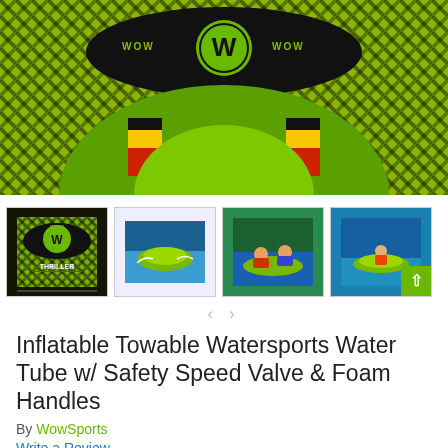[Figure (photo): WOW Sports Thriller inflatable towable tube product main image showing top view of the green, black, and yellow plaid tube with WOW branding and W logo in center]
[Figure (photo): Four product thumbnail images in a row: 1) Top view of Thriller tube with logo, 2) Tube being towed on water with riders, 3) Close-up of riders on tube in water, 4) Wide shot of tube on water]
Inflatable Towable Watersports Water Tube w/ Safety Speed Valve & Foam Handles
By WowSports
Write a Review